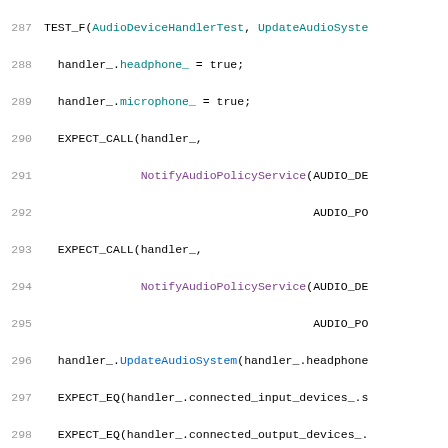[Figure (screenshot): Source code screenshot showing C++ unit test code with line numbers 287-307, syntax highlighted in monospace font. Lines show test functions for AudioDeviceHandlerTest with calls to EXPECT_CALL, NotifyAudioPolicyService, EXPECT_EQ, UpdateAudioSystem, ConnectAudioDevice methods.]